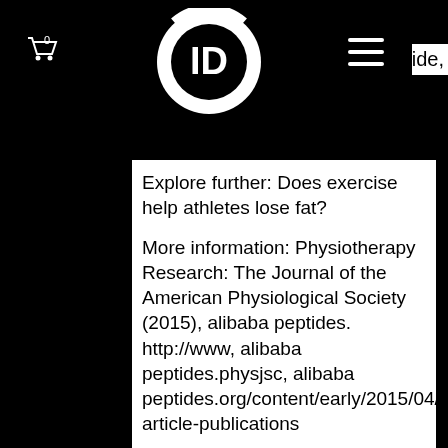[Figure (logo): Website header with black background, circular logo with TP letters in center, cart icon on left, hamburger menu icon on right]
Explore further: Does exercise help athletes lose fat?
More information: Physiotherapy Research: The Journal of the American Physiological Society (2015), alibaba peptides. http://www, alibaba peptides.physjsc, alibaba peptides.org/content/early/2015/04/13/physiotherapy-article-publications
Nandrolone Phenylpropionate (NPP) The first thing that you should know is that this anabolic steroid has a lot of the same properties as the compound, Nandrolone Decanoate (Deca)but it is not an anabolic steroid. Rather, Nandrolone